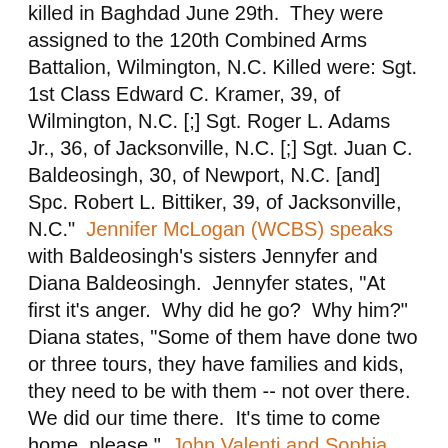killed in Baghdad June 29th.  They were assigned to the 120th Combined Arms Battalion, Wilmington, N.C. Killed were: Sgt. 1st Class Edward C. Kramer, 39, of Wilmington, N.C. [;] Sgt. Roger L. Adams Jr., 36, of Jacksonville, N.C. [;] Sgt. Juan C. Baldeosingh, 30, of Newport, N.C. [and] Spc. Robert L. Bittiker, 39, of Jacksonville, N.C."  Jennifer McLogan (WCBS) speaks with Baldeosingh's sisters Jennyfer and Diana Baldeosingh.  Jennyfer states, "At first it's anger.  Why did he go?  Why him?"  Diana states, "Some of them have done two or three tours, they have families and kids, they need to be with them -- not over there.  We did our time there.  It's time to come home, please."  John Valenti and Sophia Chang (Newsday -- link has text and video) also speak with the two sisters and they note: "He also leaves behind his wife, Rebecca, and three young daughters -- Emily, 2, and 5-year-old twins, Isabella and Kylie." ENCToday speaks with Brian Wheat, the stepfather of Robert Bittiker and explains, "Bittiker leaves behind his wife Tami, and two sons Cameron, 14, and Ronnie, 18, who just graduated from Southwest High School".  The Salisbury Post notes Edward Kramer's wife Vicki issued a statement explaining, "He loved us very much and he did this for his